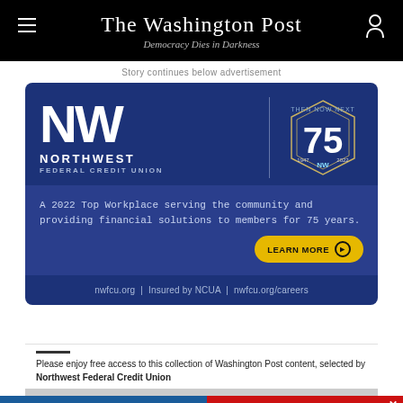The Washington Post — Democracy Dies in Darkness
Story continues below advertisement
[Figure (advertisement): Northwest Federal Credit Union advertisement on dark blue background. Shows large NW logo letters, company name 'NORTHWEST FEDERAL CREDIT UNION', a hexagonal 75th anniversary badge (1947-2022), tagline 'A 2022 Top Workplace serving the community and providing financial solutions to members for 75 years.', Learn More button, and footer with nwfcu.org | Insured by NCUA | nwfcu.org/careers]
Please enjoy free access to this collection of Washington Post content, selected by Northwest Federal Credit Union
[Figure (advertisement): Safeway Labor Day 'end of summer savings' advertisement with blue left panel and red right panel showing Safeway logo and SHOP NOW button]